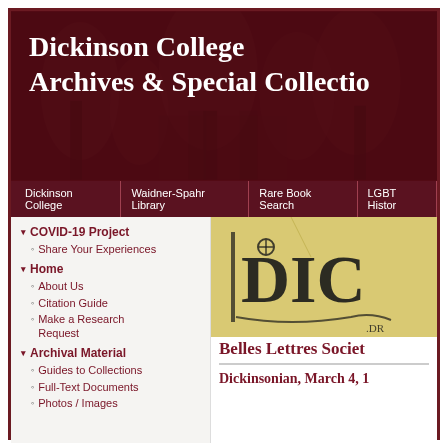Dickinson College Archives & Special Collections
Dickinson College | Waidner-Spahr Library | Rare Book Search | LGBT History
▾ COVID-19 Project
◦ Share Your Experiences
▾ Home
◦ About Us
◦ Citation Guide
◦ Make a Research Request
▾ Archival Material
◦ Guides to Collections
◦ Full-Text Documents
◦ Photos / Images
[Figure (photo): Vintage yellowish document or publication cover with ornate black lettering showing 'DIC' (partial view of Dickinsonian masthead)]
Belles Lettres Society
Dickinsonian, March 4, 1...